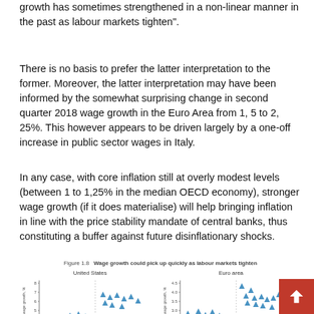growth has sometimes strengthened in a non-linear manner in the past as labour markets tighten".
There is no basis to prefer the latter interpretation to the former. Moreover, the latter interpretation may have been informed by the somewhat surprising change in second quarter 2018 wage growth in the Euro Area from 1, 5 to 2, 25%. This however appears to be driven largely by a one-off increase in public sector wages in Italy.
In any case, with core inflation still at overly modest levels (between 1 to 1,25% in the median OECD economy), stronger wage growth (if it does materialise) will help bringing inflation in line with the price stability mandate of central banks, thus constituting a buffer against future disinflationary shocks.
Figure 1.8   Wage growth could pick up quickly as labour markets tighten
[Figure (scatter-plot): Two scatter plots side by side: United States (left) and Euro area (right). Both show nominal wage growth (%) on y-axis vs. some labour market measure on x-axis. Data points are blue triangles. Axes cut off at bottom of page.]